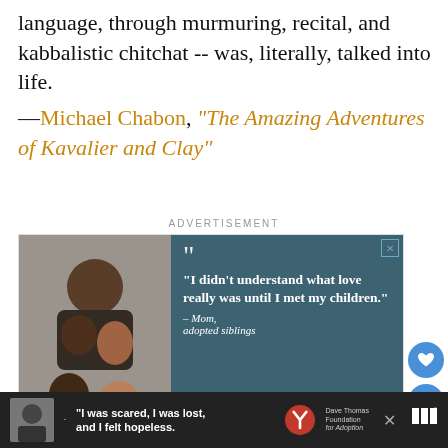language, through murmuring, recital, and kabbalistic chitchat -- was, literally, talked into life.
—Michael Chabon, "The Amazing Adventures of Kavalier and Clay"
ADVERTISEMENT
[Figure (photo): Advertisement for Dave Thomas Foundation for Adoption featuring a smiling family with a quote: 'I didn't understand what love really was until I met my children.' — Mom, adopted siblings]
[Figure (photo): Bottom banner ad for Dave Thomas Foundation for Adoption with quote: 'I was scared, I was lost, and I felt hopeless.']